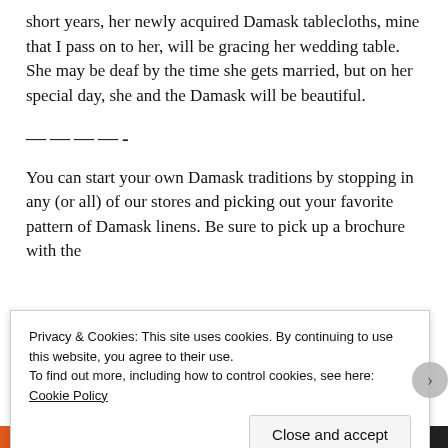short years, her newly acquired Damask tablecloths, mine that I pass on to her, will be gracing her wedding table.  She may be deaf by the time she gets married, but on her special day, she and the Damask will be beautiful.
————-
You can start your own Damask traditions by stopping in any (or all) of our stores and picking out your favorite pattern of Damask linens. Be sure to pick up a brochure with the
Privacy & Cookies: This site uses cookies. By continuing to use this website, you agree to their use.
To find out more, including how to control cookies, see here: Cookie Policy
Close and accept